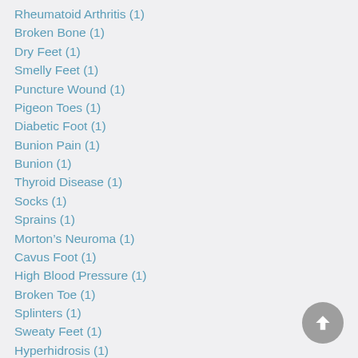Rheumatoid Arthritis (1)
Broken Bone (1)
Dry Feet (1)
Smelly Feet (1)
Puncture Wound (1)
Pigeon Toes (1)
Diabetic Foot (1)
Bunion Pain (1)
Bunion (1)
Thyroid Disease (1)
Socks (1)
Sprains (1)
Morton’s Neuroma (1)
Cavus Foot (1)
High Blood Pressure (1)
Broken Toe (1)
Splinters (1)
Sweaty Feet (1)
Hyperhidrosis (1)
Foot Fracture (1)